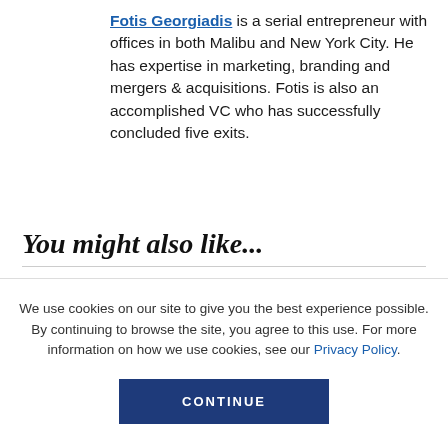Fotis Georgiadis is a serial entrepreneur with offices in both Malibu and New York City. He has expertise in marketing, branding and mergers & acquisitions. Fotis is also an accomplished VC who has successfully concluded five exits.
You might also like...
We use cookies on our site to give you the best experience possible. By continuing to browse the site, you agree to this use. For more information on how we use cookies, see our Privacy Policy.